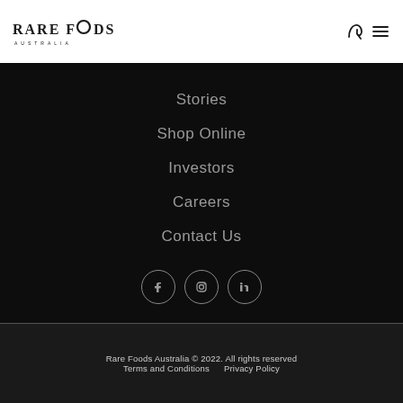[Figure (logo): Rare Foods Australia logo with stylized text and small circular 'O']
Stories
Shop Online
Investors
Careers
Contact Us
[Figure (illustration): Social media icons: Facebook, Instagram, LinkedIn in circular outlines]
Rare Foods Australia © 2022. All rights reserved
Terms and Conditions   Privacy Policy